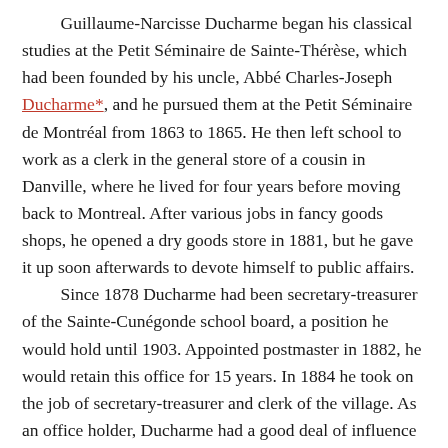Guillaume-Narcisse Ducharme began his classical studies at the Petit Séminaire de Sainte-Thérèse, which had been founded by his uncle, Abbé Charles-Joseph Ducharme*, and he pursued them at the Petit Séminaire de Montréal from 1863 to 1865. He then left school to work as a clerk in the general store of a cousin in Danville, where he lived for four years before moving back to Montreal. After various jobs in fancy goods shops, he opened a dry goods store in 1881, but he gave it up soon afterwards to devote himself to public affairs.
Since 1878 Ducharme had been secretary-treasurer of the Sainte-Cunégonde school board, a position he would hold until 1903. Appointed postmaster in 1882, he would retain this office for 15 years. In 1884 he took on the job of secretary-treasurer and clerk of the village. As an office holder, Ducharme had a good deal of influence on the municipal council, according to Édouard-Zotique Massicotte*. He participated actively in the development of this Montreal suburban municipality, whose population of